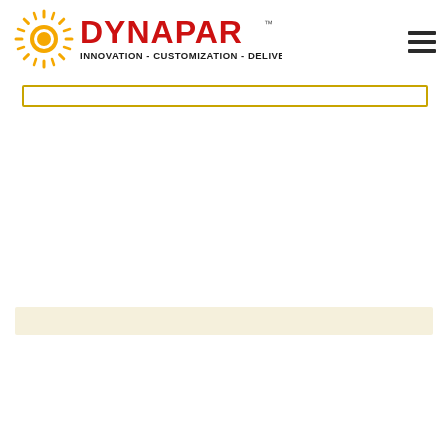[Figure (logo): Dynapar logo with yellow sunburst icon and red DYNAPAR text, tagline INNOVATION - CUSTOMIZATION - DELIVERY]
[Figure (other): Hamburger menu icon (three horizontal dark lines) in top right corner]
[Figure (other): Search bar with gold/yellow border below the header]
[Figure (other): Tan/cream colored horizontal banner strip in lower portion of page]